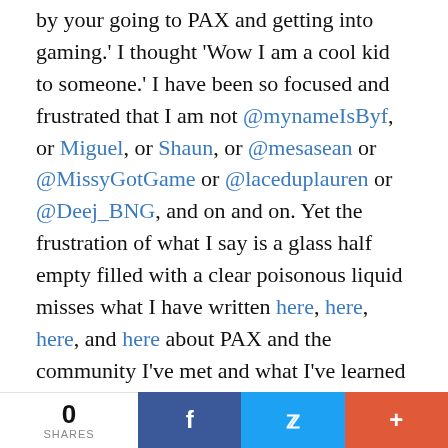by your going to PAX and getting into gaming.' I thought 'Wow I am a cool kid to someone.' I have been so focused and frustrated that I am not @mynameIsByf, or Miguel, or Shaun, or @mesasean or @MissyGotGame or @laceduplauren or @Deej_BNG, and on and on. Yet the frustration of what I say is a glass half empty filled with a clear poisonous liquid misses what I have written here, here, here, and here about PAX and the community I've met and what I've learned since Destiny was launched.
I have learned that PvP is something I suck at.
0 SHARES | f | twitter | +